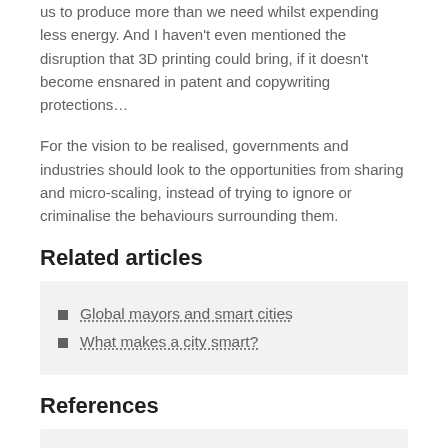us to produce more than we need whilst expending less energy. And I haven't even mentioned the disruption that 3D printing could bring, if it doesn't become ensnared in patent and copywriting protections…
For the vision to be realised, governments and industries should look to the opportunities from sharing and micro-scaling, instead of trying to ignore or criminalise the behaviours surrounding them.
Related articles
Global mayors and smart cities
What makes a city smart?
References
The New Science of Cities by Michael Batty